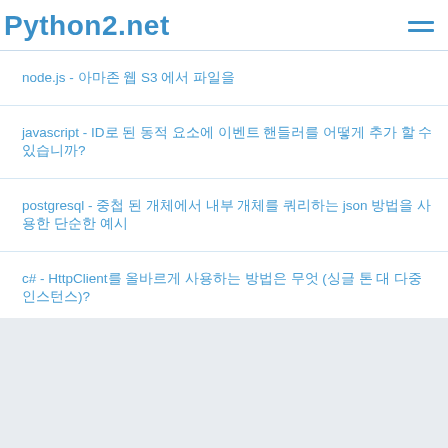Python2.net
node.js - 아마존 웹 S3 에서 파일을
javascript - ID로 된 동적 요소에 이벤트 핸들러를 어떻게 추가 할 수 있습니까?
postgresql - 중첩 된 개체에서 내부 개체를 쿼리하는 json 방법을 사용한 단순한 예시
c# - HttpClient를 올바르게 사용하는 방법은 무엇 (싱글 톤 대 다중 인스턴스)?
javascript - 웹을 클릭할 때 동일한 탭으로 열려 있는 모든 이벤트에 이벤트를 발생시키는 방법은 무엇입니까?